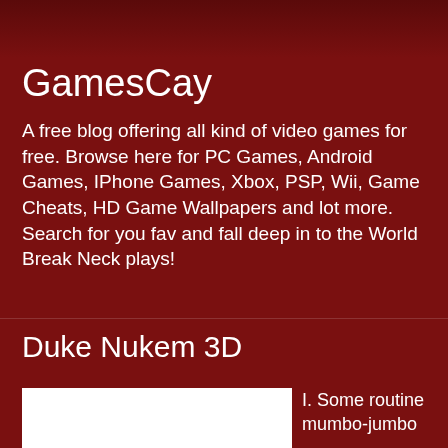GamesCay
A free blog offering all kind of video games for free. Browse here for PC Games, Android Games, IPhone Games, Xbox, PSP, Wii, Game Cheats, HD Game Wallpapers and lot more. Search for you fav and fall deep in to the World Break Neck plays!
Duke Nukem 3D
[Figure (photo): White rectangle representing a game image/screenshot placeholder]
I. Some routine mumbo-jumbo
==========================
=========================

After hours of exploration, I've